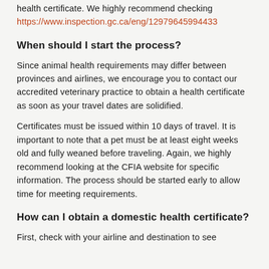health certificate. We highly recommend checking https://www.inspection.gc.ca/eng/12979645994433
When should I start the process?
Since animal health requirements may differ between provinces and airlines, we encourage you to contact our accredited veterinary practice to obtain a health certificate as soon as your travel dates are solidified.
Certificates must be issued within 10 days of travel. It is important to note that a pet must be at least eight weeks old and fully weaned before traveling. Again, we highly recommend looking at the CFIA website for specific information. The process should be started early to allow time for meeting requirements.
How can I obtain a domestic health certificate?
First, check with your airline and destination to see